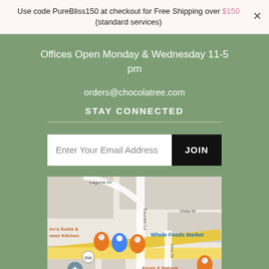Use code PureBliss150 at checkout for Free Shipping over $150 (standard services)
Offices Open Monday & Wednesday 11-5 pm
orders@chocolatree.com
STAY CONNECTED
Enter Your Email Address  JOIN
[Figure (map): Google Maps screenshot showing area near Sedona, AZ with Whole Foods Market, Fresh & Natural Thai Kitchen, Hiro's Sushi & Japanese Kitchen, map pins, road 89A, Laguna Dr, Traumeri Ln, Vista M, View Dr.]